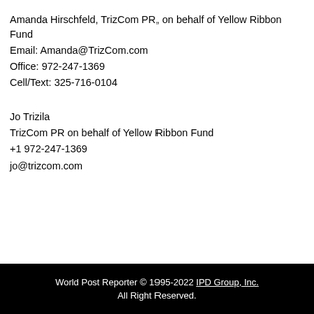Amanda Hirschfeld, TrizCom PR, on behalf of Yellow Ribbon Fund
Email: Amanda@TrizCom.com
Office: 972-247-1369
Cell/Text: 325-716-0104
Jo Trizila
TrizCom PR on behalf of Yellow Ribbon Fund
+1 972-247-1369
jo@trizcom.com
World Post Reporter © 1995-2022 IPD Group, Inc. All Right Reserved.